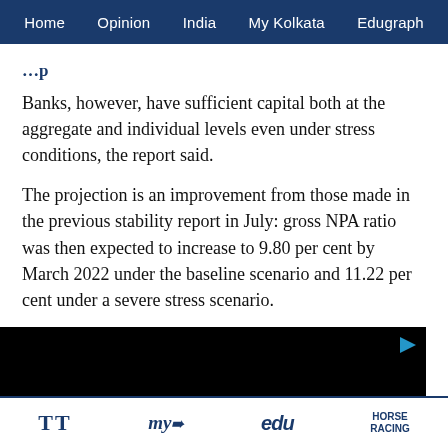Home  Opinion  India  My Kolkata  Edugraph
Banks, however, have sufficient capital both at the aggregate and individual levels even under stress conditions, the report said.
The projection is an improvement from those made in the previous stability report in July: gross NPA ratio was then expected to increase to 9.80 per cent by March 2022 under the baseline scenario and 11.22 per cent under a severe stress scenario.
[Figure (other): Black video player area with loading circle and play triangle icon]
TT  my kolkata  edu  HORSE RACING